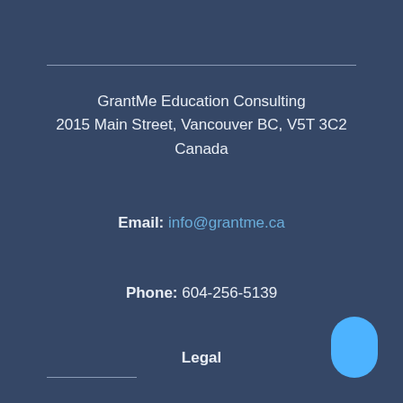GrantMe Education Consulting
2015 Main Street, Vancouver BC, V5T 3C2
Canada
Email: info@grantme.ca
Phone: 604-256-5139
Legal